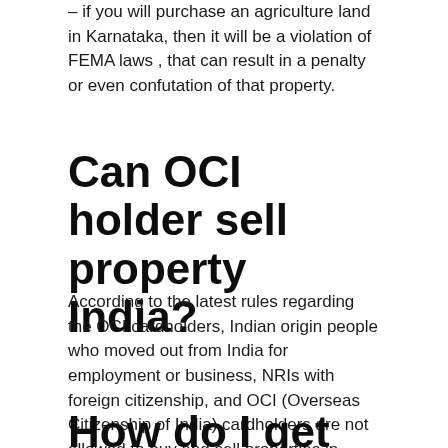– if you will purchase an agriculture land in Karnataka, then it will be a violation of FEMA laws , that can result in a penalty or even confutation of that property.
Can OCI holder sell property India?
According to the latest rules regarding the OCI cardholders, Indian origin people who moved out from India for employment or business, NRIs with foreign citizenship, and OCI (Overseas Citizenship of India) cardholders are not allowed to buy and sell properties in India.
How do I get RBI